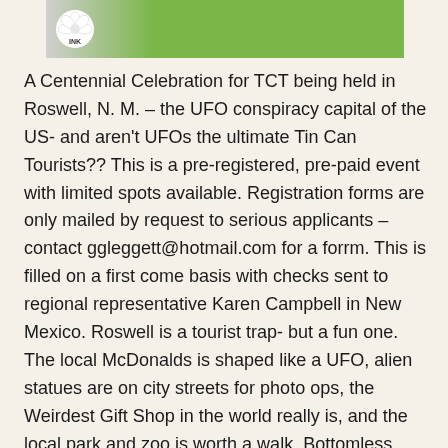[Figure (photo): Partial photo showing a person wearing a green shirt, with a logo visible showing 'INK' text on a white flower/daisy design badge]
A Centennial Celebration for TCT being held in Roswell, N. M. – the UFO conspiracy capital of the US- and aren't UFOs the ultimate Tin Can Tourists?? This is a pre-registered, pre-paid event with limited spots available. Registration forms are only mailed by request to serious applicants – contact ggleggett@hotmail.com for a forrm. This is filled on a first come basis with checks sent to regional representative Karen Campbell in New Mexico. Roswell is a tourist trap- but a fun one. The local McDonalds is shaped like a UFO, alien statues are on city streets for photo ops, the Weirdest Gift Shop in the world really is, and the local park and zoo is worth a walk. Bottomless Lake State Park is a quick 15 mile side trip for those who kayak or scuba dive. It is over a cave system, hence bottomless. The event features a Friday night catered dinner and drive in style movie, Saturday